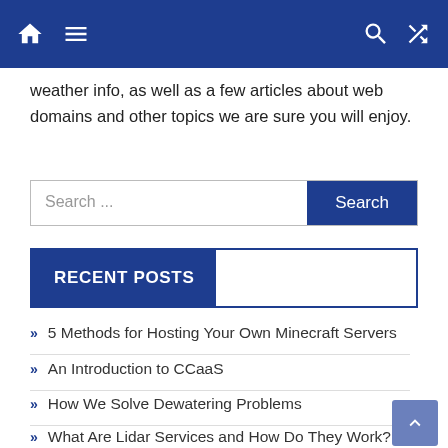Navigation bar with home, menu, search, and shuffle icons
weather info, as well as a few articles about web domains and other topics we are sure you will enjoy.
Search ...
RECENT POSTS
5 Methods for Hosting Your Own Minecraft Servers
An Introduction to CCaaS
How We Solve Dewatering Problems
What Are Lidar Services and How Do They Work?
How To Building a Minecraft Server Hosting Company